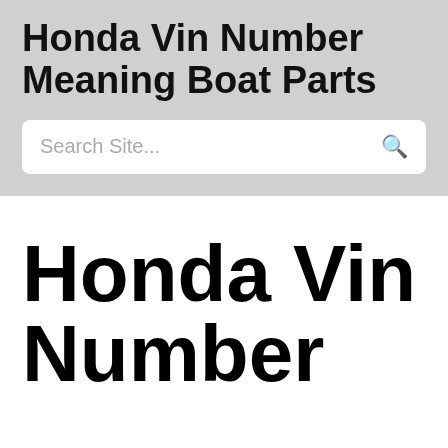Honda Vin Number Meaning Boat Parts
Search Site...
Honda Vin Number